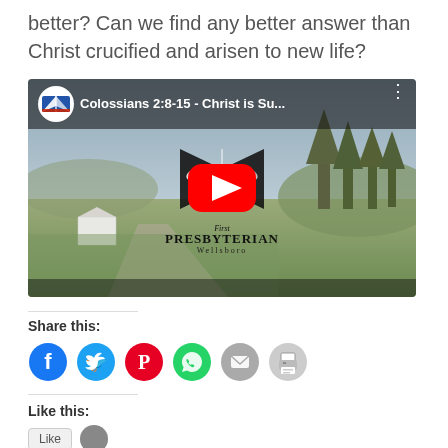better? Can we find any better answer than Christ crucified and arisen to new life?
[Figure (screenshot): YouTube video thumbnail for 'Colossians 2:8-15 - Christ is Su...' from First Presbyterian Wellsboro. Shows a rural landscape with the church logo (open book with hands) and a red YouTube play button in the center.]
Share this:
[Figure (infographic): Row of social share icon buttons: Facebook (blue), Twitter (light blue), Pinterest (red), WhatsApp (green), Email (gray), Print (light gray)]
Like this: